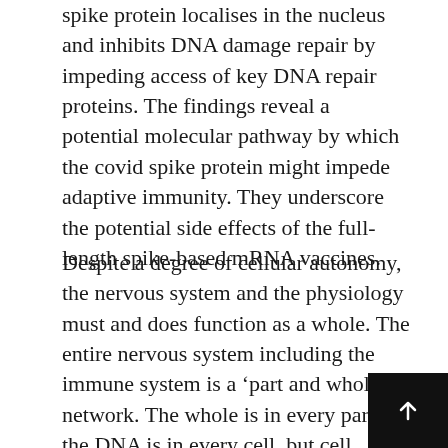spike protein localises in the nucleus and inhibits DNA damage repair by impeding access of key DNA repair proteins. The findings reveal a potential molecular pathway by which the covid spike protein might impede adaptive immunity. They underscore the potential side effects of the full-length spike-based mRNA vaccines.
Despite a degree of cellular autonomy, the nervous system and the physiology must and does function as a whole. The entire nervous system including the immune system is a ‘part and whole’ network. The whole is in every part, the DNA is in every cell, but cell function is also related to a generalised and interconnected genetic network—the holistic functioning of the physiological network is critical efficiency. Thus physiological network stability (health)